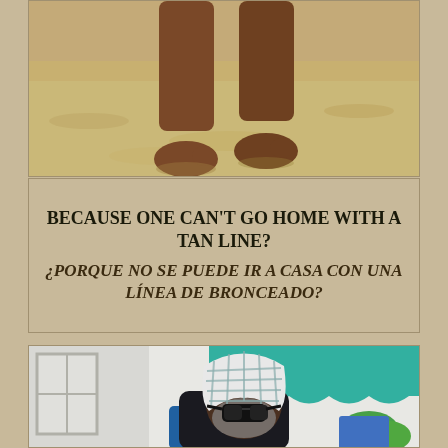[Figure (photo): Photo of person's bare feet/legs standing on sandy beach, viewed from mid-calf down]
BECAUSE ONE CAN'T GO HOME WITH A TAN LINE?
¿PORQUE NO SE PUEDE IR A CASA CON UNA LÍNEA DE BRONCEADO?
[Figure (photo): Photo of a man with a checkered towel draped over his head, wearing dark sunglasses, sitting outdoors with a teal/turquoise awning in the background]